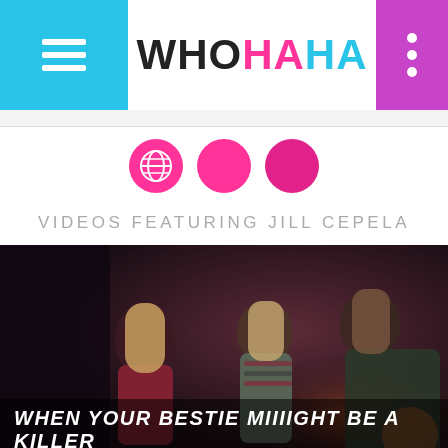WHOHAHA
[Figure (illustration): Three pink/magenta circles with icons: globe icon, solid circle, solid circle — social media link icons]
VIDEOS FEATURING JILL CEPELA
[Figure (photo): Dark moody outdoor nighttime scene with three people sitting together, one woman with long blonde hair in red top on left, two men in the center and right, warm ambient lighting]
WHEN YOUR BESTIE MIIIIGHT BE A KILLER